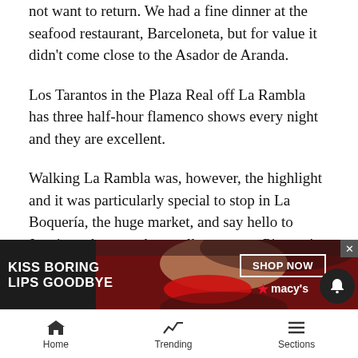not want to return. We had a fine dinner at the seafood restaurant, Barceloneta, but for value it didn't come close to the Asador de Aranda.
Los Tarantos in the Plaza Real off La Rambla has three half-hour flamenco shows every night and they are excellent.
Walking La Rambla was, however, the highlight and it was particularly special to stop in La Boquería, the huge market, and say hello to Juanito, who runs the small restaurant Pinoxto's near the entrance. He has no menu, just tells you what is available that day. But, as he says, everything is "muy bueno."
My first visit to Spain was 52 years ago and it still retains… [partially obscured by ad]
[Figure (other): Macy's advertisement banner: 'KISS BORING LIPS GOODBYE' with a woman's face and red lips, SHOP NOW button, Macy's star logo]
Home   Trending   Sections